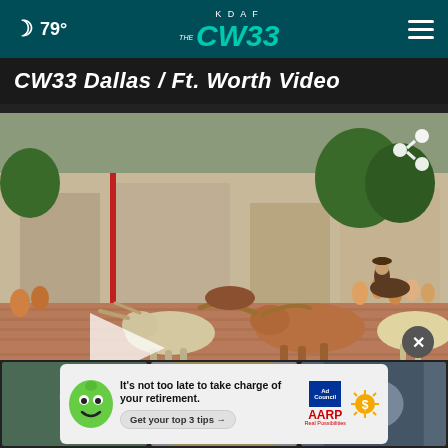79° KDAF CW33
CW33 Dallas / Ft. Worth Video
[Figure (screenshot): Video player showing a cattle drive (longhorn cattle) on a brick street in Fort Worth Stockyards, with cowboys on horseback and spectators on the sides. A purple lower-third banner reads: WATCH THIS STORY AGAIN AND GET BONUS INFO AT CW33.COM. A play button overlay is visible on the left. CW33 watermark is in the lower-left corner. A Fair Run badge appears on the right of the banner.]
[Figure (screenshot): Ad banner at the bottom of the screen: 'It's not too late to take charge of your retirement. Get your top 3 tips ->' with Ad Council and AARP logos. A green smiley-face cartoon mascot is on the left. A close X button is visible above the ad.]